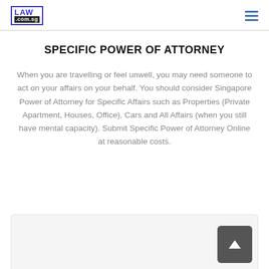LAW .com.sg
SPECIFIC POWER OF ATTORNEY
When you are travelling or feel unwell, you may need someone to act on your affairs on your behalf. You should consider Singapore Power of Attorney for Specific Affairs such as Properties (Private Apartment, Houses, Office), Cars and All Affairs (when you still have mental capacity). Submit Specific Power of Attorney Online at reasonable costs.